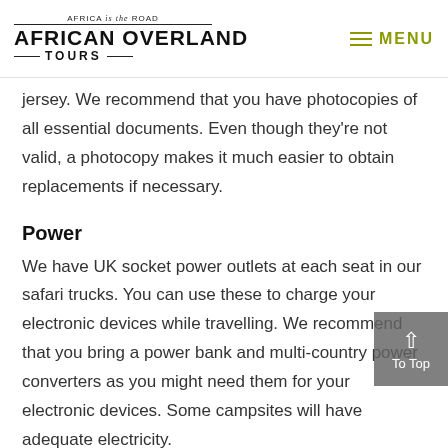AFRICA is the ROAD | AFRICAN OVERLAND TOURS | MENU
jersey. We recommend that you have photocopies of all essential documents. Even though they're not valid, a photocopy makes it much easier to obtain replacements if necessary.
Power
We have UK socket power outlets at each seat in our safari trucks. You can use these to charge your electronic devices while travelling. We recommend that you bring a power bank and multi-country power converters as you might need them for your electronic devices. Some campsites will have adequate electricity.